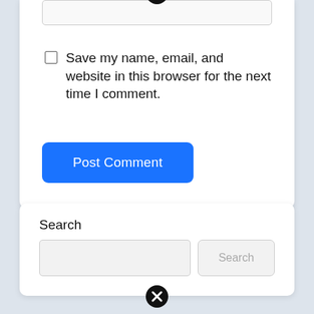[Figure (screenshot): Text input field with close (X) icon at top center, part of a comment form card]
Save my name, email, and website in this browser for the next time I comment.
[Figure (screenshot): Blue Post Comment button]
Search
[Figure (screenshot): Search input field with Search button to the right]
[Figure (screenshot): Close (X) icon at bottom of page]